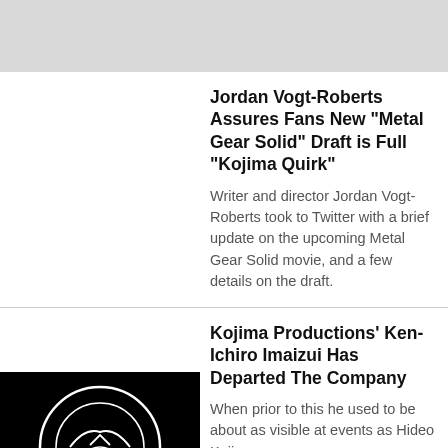[Figure (other): Gray header bar at top of page]
Jordan Vogt-Roberts Assures Fans New "Metal Gear Solid" Draft is Full "Kojima Quirk"
Writer and director Jordan Vogt-Roberts took to Twitter with a brief update on the upcoming Metal Gear Solid movie, and a few details on the draft.
Kojima Productions' Ken-Ichiro Imaizui Has Departed The Company
[Figure (photo): Black background image with white line art logo/illustration, partially visible at bottom of page]
When prior to this he used to be about as visible at events as Hideo Kojima was...